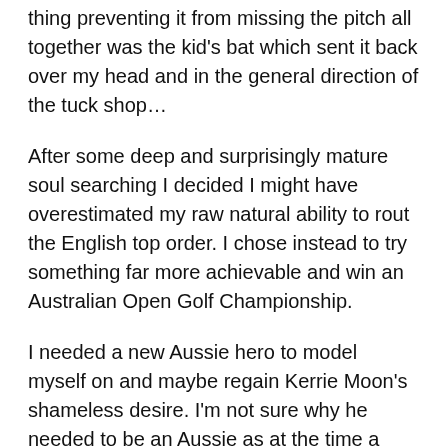thing preventing it from missing the pitch all together was the kid's bat which sent it back over my head and in the general direction of the tuck shop…
After some deep and surprisingly mature soul searching I decided I might have overestimated my raw natural ability to rout the English top order. I chose instead to try something far more achievable and win an Australian Open Golf Championship.
I needed a new Aussie hero to model myself on and maybe regain Kerrie Moon's shameless desire. I'm not sure why he needed to be an Aussie as at the time a bloke called Jack Nicklaus was doing a bit of damage but for some reason he had to be the Graham McKenzie of golf. I didn't have to ponder for long when Dad finally got sick of using his 2 iron to putt with after I'd borrowed his putter